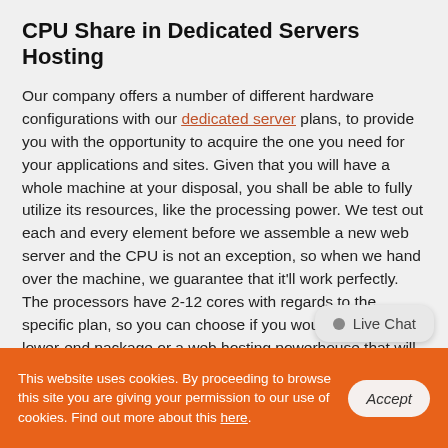CPU Share in Dedicated Servers Hosting
Our company offers a number of different hardware configurations with our dedicated server plans, to provide you with the opportunity to acquire the one you need for your applications and sites. Given that you will have a whole machine at your disposal, you shall be able to fully utilize its resources, like the processing power. We test out each and every element before we assemble a new web server and the CPU is not an exception, so when we hand over the machine, we guarantee that it'll work perfectly. The processors have 2-12 cores with regards to the specific plan, so you can choose if you would like to use a lower-end package or a web hosting powerhouse that will allow you to run exceptionally heavy and resource-demanding applications. The powerful CPUs will boost the
Live Chat
This website uses cookies. By proceeding to browse this site you are giving your permission to our use of cookies. Find out more about this here.